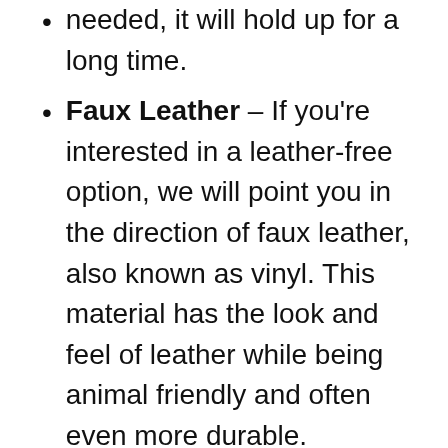needed, it will hold up for a long time.
Faux Leather – If you're interested in a leather-free option, we will point you in the direction of faux leather, also known as vinyl. This material has the look and feel of leather while being animal friendly and often even more durable.
Microfiber – We love having a wallet-friendly option, and in this category, that is microfiber textiles. This material often comes in a wide variety of colors and is easy to clean. The one caveat is that any stains need to be addressed quickly, so they don't settle in.
Tweed – While this material might